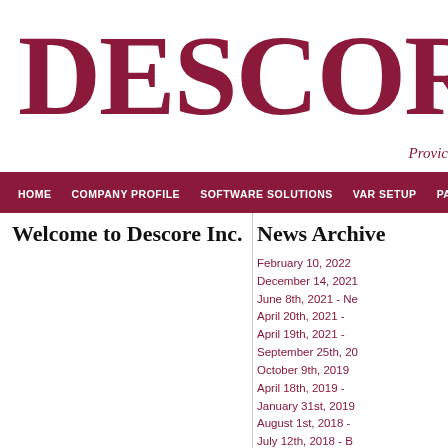[Figure (logo): DESCORE logo in large dark red serif font with arrow symbol]
Provic
HOME   COMPANY PROFILE   SOFTWARE SOLUTIONS   VAR SETUP   PARTNERS
Welcome to Descore Inc.
News Archive
February 10, 2022
December 14, 2021
June 8th, 2021 - Ne
April 20th, 2021 -
April 19th, 2021 -
September 25th, 20
October 9th, 2019
April 18th, 2019 -
January 31st, 2019
August 1st, 2018 -
July 12th, 2018 - B
July 3rd, 2018 - BA
April 24th, 2017 -
September 22nd, 2
April 27th, 2016 -
January 14th, 2016
March 19th, 2015 -
January 28th, 2015